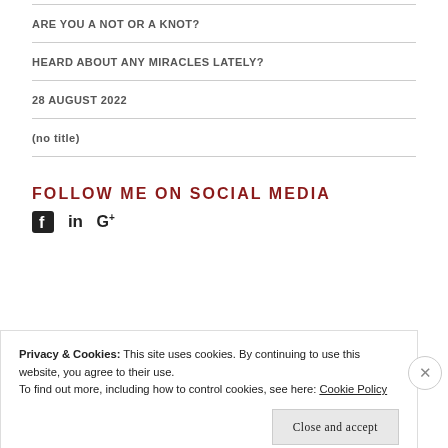ARE YOU A NOT OR A KNOT?
HEARD ABOUT ANY MIRACLES LATELY?
28 AUGUST 2022
(no title)
FOLLOW ME ON SOCIAL MEDIA
[Figure (infographic): Social media icons: Facebook, LinkedIn, Google+]
Privacy & Cookies: This site uses cookies. By continuing to use this website, you agree to their use.
To find out more, including how to control cookies, see here: Cookie Policy
Close and accept